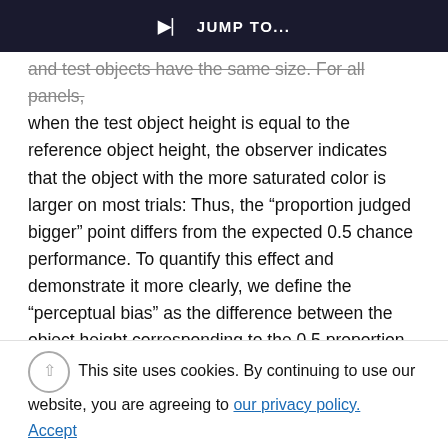JUMP TO...
and test objects have the same size. For all panels, when the test object height is equal to the reference object height, the observer indicates that the object with the more saturated color is larger on most trials: Thus, the “proportion judged bigger” point differs from the expected 0.5 chance performance. To quantify this effect and demonstrate it more clearly, we define the “perceptual bias” as the difference between the object height corresponding to the 0.5 proportion level on the fitted function (the 0.5 threshold) and the reference object’s height. We
This site uses cookies. By continuing to use our website, you are agreeing to our privacy policy.
Accept